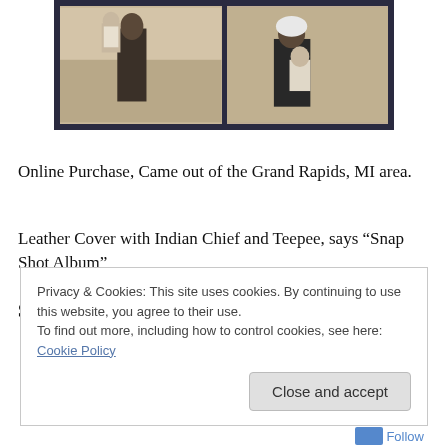[Figure (photo): Two old black-and-white photographs mounted on a dark navy blue album page. Left photo shows a man holding a baby/young child. Right photo shows a woman holding a young child.]
Online Purchase, Came out of the Grand Rapids, MI area.
Leather Cover with Indian Chief and Teepee, says “Snap Shot Album”
Some info written on photos in Album
Privacy & Cookies: This site uses cookies. By continuing to use this website, you agree to their use.
To find out more, including how to control cookies, see here: Cookie Policy
Close and accept